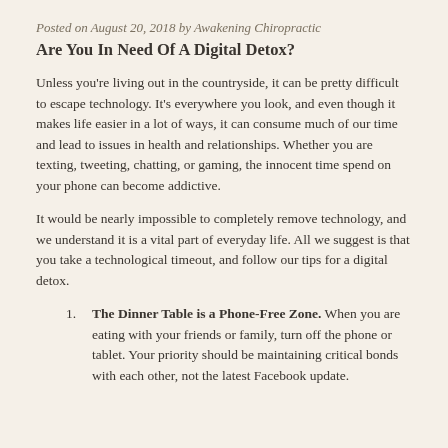Posted on August 20, 2018 by Awakening Chiropractic
Are You In Need Of A Digital Detox?
Unless you're living out in the countryside, it can be pretty difficult to escape technology. It's everywhere you look, and even though it makes life easier in a lot of ways, it can consume much of our time and lead to issues in health and relationships. Whether you are texting, tweeting, chatting, or gaming, the innocent time spend on your phone can become addictive.
It would be nearly impossible to completely remove technology, and we understand it is a vital part of everyday life. All we suggest is that you take a technological timeout, and follow our tips for a digital detox.
The Dinner Table is a Phone-Free Zone. When you are eating with your friends or family, turn off the phone or tablet. Your priority should be maintaining critical bonds with each other, not the latest Facebook update.